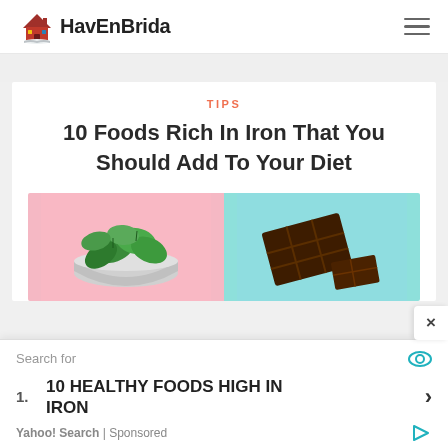HavEnBrida
TIPS
10 Foods Rich In Iron That You Should Add To Your Diet
[Figure (photo): Two images side by side: left shows a bowl of fresh green spinach leaves on a pink background; right shows dark chocolate pieces on a teal/mint background.]
Search for
1. 10 HEALTHY FOODS HIGH IN IRON
Yahoo! Search | Sponsored